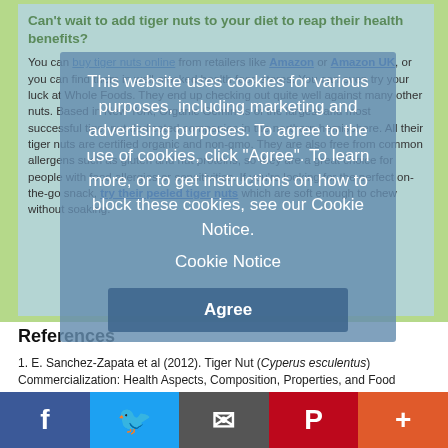Can't wait to add tiger nuts to your diet to reap their health benefits? You can buy tiger nuts online from retailers like Amazon or Amazon UK, or you can find them in well-stocked health food stores. You can even try your luck at Whole Foods. They end up checking out quite well against many other nuts. Based in New York, Organic Gemini is of the largest and most successful tiger nut dedicated companies in the northern hemisphere. All their tiger nuts are certified organic and non-gmo. They are also free from common allergens such as gluten and nut proteins, so they are a great choice for people with food allergies or sensitivities. If you're looking for the perfect on-the-go snack, try their peeled tiger nuts which are soft enough to chew without soaking.
This website uses cookies for various purposes, including marketing and advertising purposes. To agree to the use of cookies, click "Agree". To learn more, or to get instructions on how to block these cookies, see our Cookie Notice.
Cookie Notice
Agree
References
1. E. Sanchez-Zapata et al (2012). Tiger Nut (Cyperus esculentus) Commercialization: Health Aspects, Composition, Properties, and Food Applications.